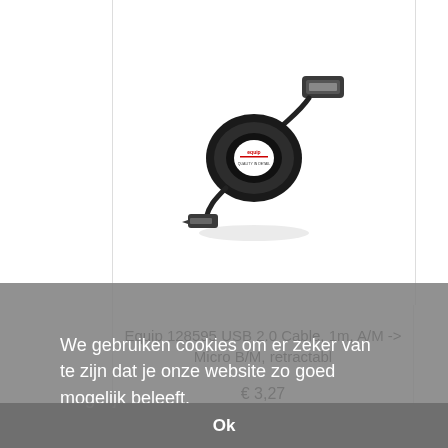[Figure (photo): A retractable USB 2.0 cable with a USB Type-A connector on one end and a Micro-B connector on the other, coiled in a black circular retractable housing with an Equip logo.]
Equip 128595 USB 2.0 Cable, 1m, A/M -> Micro B/M, retractabl
€ 3,27
We gebruiken cookies om er zeker van te zijn dat je onze website zo goed mogelijk beleeft.
Ok